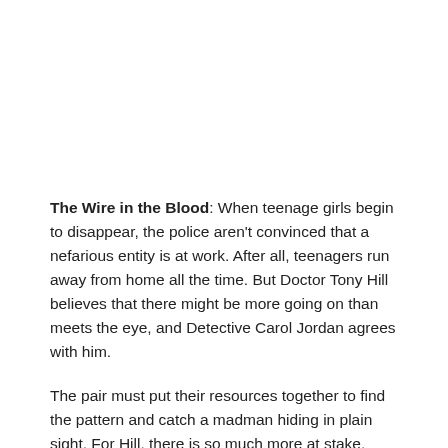The Wire in the Blood: When teenage girls begin to disappear, the police aren't convinced that a nefarious entity is at work. After all, teenagers run away from home all the time. But Doctor Tony Hill believes that there might be more going on than meets the eye, and Detective Carol Jordan agrees with him.

The pair must put their resources together to find the pattern and catch a madman hiding in plain sight. For Hill, there is so much more at stake. When one of his students is killed, he makes it his goal in life to find the killer.